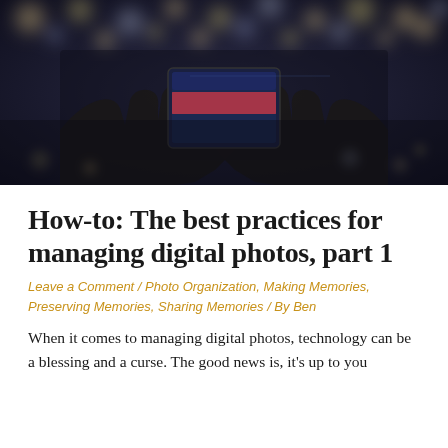[Figure (photo): Silhouetted hands holding a smartphone up to photograph a bokeh-lit scene with colorful blurred lights in background, dark nighttime atmosphere]
How-to: The best practices for managing digital photos, part 1
Leave a Comment / Photo Organization, Making Memories, Preserving Memories, Sharing Memories / By Ben
When it comes to managing digital photos, technology can be a blessing and a curse. The good news is, it's up to you